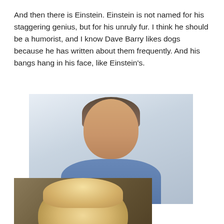And then there is Einstein. Einstein is not named for his staggering genius, but for his unruly fur. I think he should be a humorist, and I know Dave Barry likes dogs because he has written about them frequently. And his bangs hang in his face, like Einstein's.
[Figure (photo): Photo of a middle-aged man with gray-brown hair with bangs hanging in his face, wearing a blue button-up shirt, against a light background. Below and overlapping is a photo of a fluffy light-colored dog (Einstein) with long fur covering its face.]